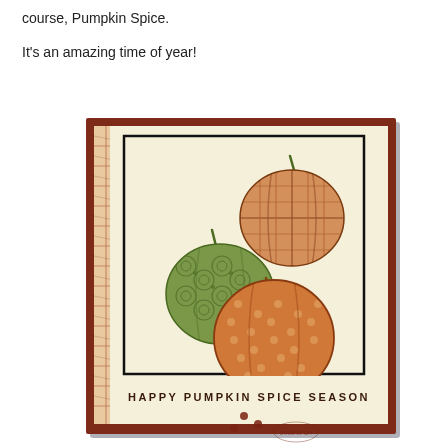course, Pumpkin Spice.
It's an amazing time of year!
[Figure (photo): A handmade greeting card featuring three decorated pumpkins (one plaid/orange, one green with floral pattern, one orange with dots) on a cream background with a plaid strip on the left side and a dark red/rust border. Text at the bottom reads 'HAPPY PUMPKIN SPICE SEASON' with decorative dots.]